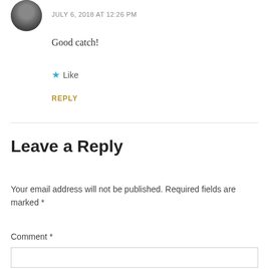[Figure (photo): Circular avatar photo of a person]
JULY 6, 2018 AT 12:26 PM
Good catch!
★ Like
REPLY
Leave a Reply
Your email address will not be published. Required fields are marked *
Comment *